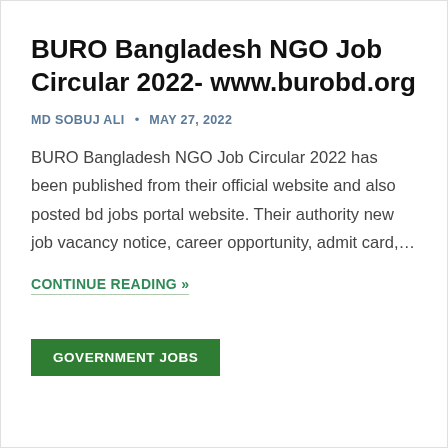BURO Bangladesh NGO Job Circular 2022- www.burobd.org
MD SOBUJ ALI  •  MAY 27, 2022
BURO Bangladesh NGO Job Circular 2022 has been published from their official website and also posted bd jobs portal website. Their authority new job vacancy notice, career opportunity, admit card,…
CONTINUE READING »
GOVERNMENT JOBS